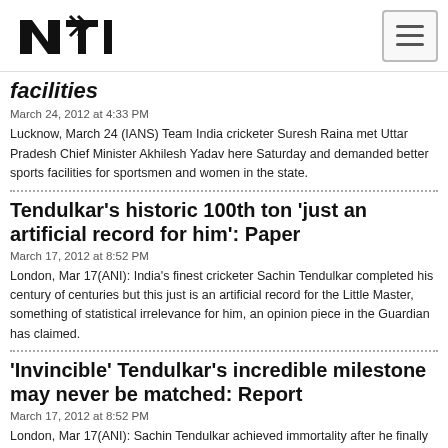NTI logo and navigation
facilities
March 24, 2012 at 4:33 PM
Lucknow, March 24 (IANS) Team India cricketer Suresh Raina met Uttar Pradesh Chief Minister Akhilesh Yadav here Saturday and demanded better sports facilities for sportsmen and women in the state.
Tendulkar's historic 100th ton 'just an artificial record for him': Paper
March 17, 2012 at 8:52 PM
London, Mar 17(ANI): India's finest cricketer Sachin Tendulkar completed his century of centuries but this just is an artificial record for the Little Master, something of statistical irrelevance for him, an opinion piece in the Guardian has claimed.
'Invincible' Tendulkar's incredible milestone may never be matched: Report
March 17, 2012 at 8:52 PM
London, Mar 17(ANI): Sachin Tendulkar achieved immortality after he finally scored his long-awaited 100th century against Bangladesh in an Asia Cup match in